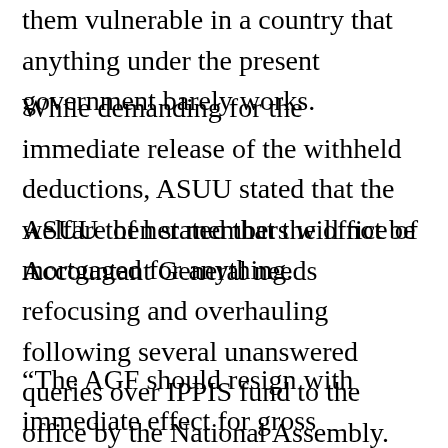them vulnerable in a country that anything under the present government barely works.
While demanding for the immediate release of the withheld deductions, ASUU stated that the welfare of her members will not be mortgaged for anything.
ASUU then stated that the office of Accountant General needs refocusing and overhauling following several unanswered queries over IPPIS fund to the office by the National Assembly.
“The AGF should resign with immediate effect for gross incompetence and abuse of office for his failure to handle the deductions from Universities and